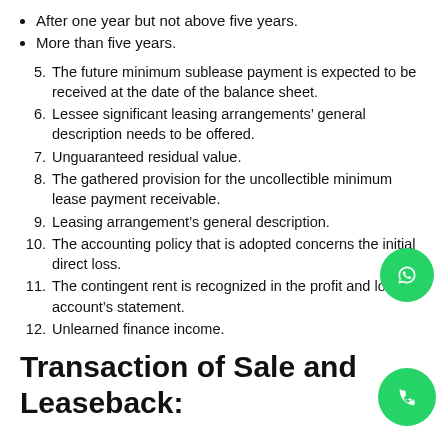After one year but not above five years.
More than five years.
5. The future minimum sublease payment is expected to be received at the date of the balance sheet.
6. Lessee significant leasing arrangements’ general description needs to be offered.
7. Unguaranteed residual value.
8. The gathered provision for the uncollectible minimum lease payment receivable.
9. Leasing arrangement’s general description.
10. The accounting policy that is adopted concerns the initial direct loss.
11. The contingent rent is recognized in the profit and loss account’s statement.
12. Unlearned finance income.
Transaction of Sale and Leaseback: